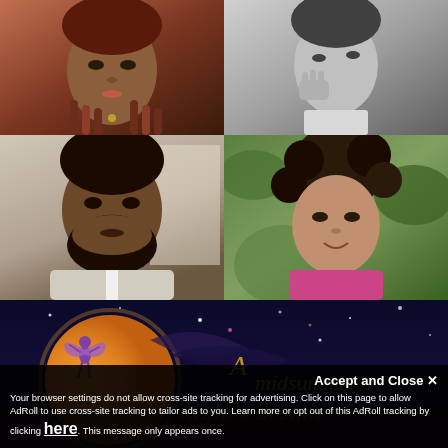[Figure (photo): Four portrait photos arranged in a 2x2 grid. Top-left: woman with braided hair in color. Top-right: man in black and white, hand near face. Middle-left: man with beard in gray suit. Middle-right: woman with curly hair outdoors in pink top.]
[Figure (illustration): Dark night sky banner with a fairy silhouette in front of a large orange moon, with stylized golden script text reading 'A midsummer...' or similar fantasy title.]
Accept and Close ✕
Your browser settings do not allow cross-site tracking for advertising. Click on this page to allow AdRoll to use cross-site tracking to tailor ads to you. Learn more or opt out of this AdRoll tracking by clicking here. This message only appears once.